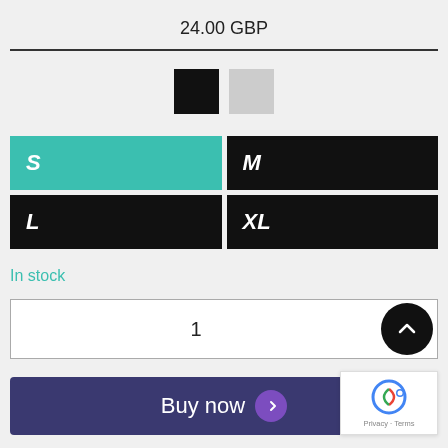24.00 GBP
[Figure (other): Two color swatches: black square and light gray square]
S
M
L
XL
In stock
1
Buy now